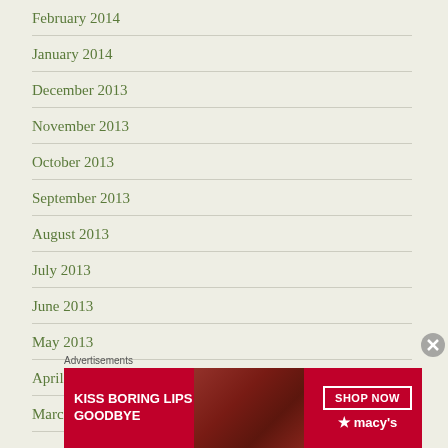February 2014
January 2014
December 2013
November 2013
October 2013
September 2013
August 2013
July 2013
June 2013
May 2013
April 2013
March 2013
Advertisements
[Figure (illustration): Macy's advertisement banner: 'KISS BORING LIPS GOODBYE' with SHOP NOW button and Macy's star logo, featuring a woman's face with red lips]